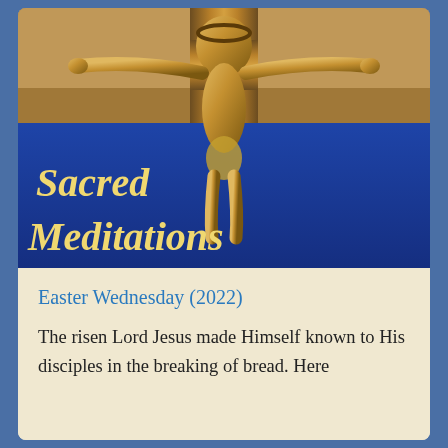[Figure (photo): A golden/bronze crucifix figure of Jesus Christ on a wooden cross, with a blue background panel in the lower portion of the image. Overlaid on the blue panel is the italic bold text 'Sacred Meditations' in gold/yellow font.]
Sacred Meditations
Easter Wednesday (2022)
The risen Lord Jesus made Himself known to His disciples in the breaking of bread. Here